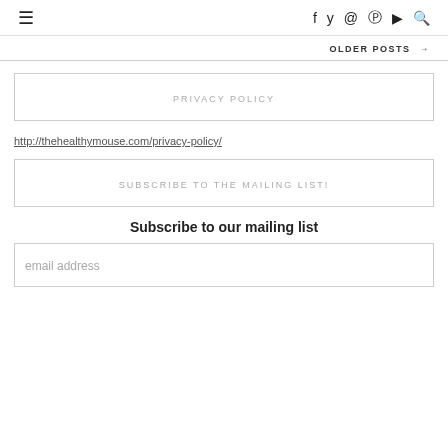≡  f  y  ◎  ⊕  ▶  🔍
OLDER POSTS →
PRIVACY POLICY
http://thehealthymouse.com/privacy-policy/
SUBSCRIBE TO THE MAILING LIST!
Subscribe to our mailing list
email address